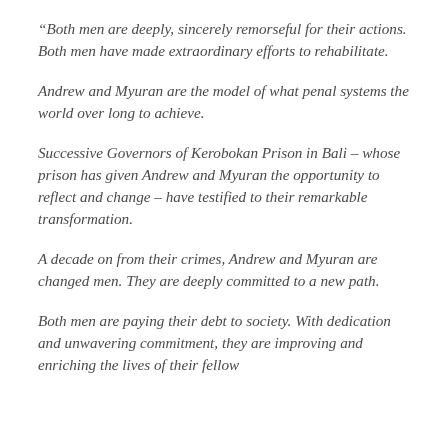“Both men are deeply, sincerely remorseful for their actions. Both men have made extraordinary efforts to rehabilitate.
Andrew and Myuran are the model of what penal systems the world over long to achieve.
Successive Governors of Kerobokan Prison in Bali – whose prison has given Andrew and Myuran the opportunity to reflect and change – have testified to their remarkable transformation.
A decade on from their crimes, Andrew and Myuran are changed men. They are deeply committed to a new path.
Both men are paying their debt to society. With dedication and unwavering commitment, they are improving and enriching the lives of their fellow